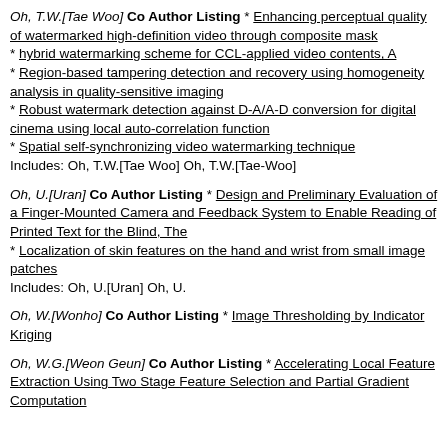Oh, T.W.[Tae Woo] Co Author Listing * Enhancing perceptual quality of watermarked high-definition video through composite mask * hybrid watermarking scheme for CCL-applied video contents, A * Region-based tampering detection and recovery using homogeneity analysis in quality-sensitive imaging * Robust watermark detection against D-A/A-D conversion for digital cinema using local auto-correlation function * Spatial self-synchronizing video watermarking technique Includes: Oh, T.W.[Tae Woo] Oh, T.W.[Tae-Woo]
Oh, U.[Uran] Co Author Listing * Design and Preliminary Evaluation of a Finger-Mounted Camera and Feedback System to Enable Reading of Printed Text for the Blind, The * Localization of skin features on the hand and wrist from small image patches Includes: Oh, U.[Uran] Oh, U.
Oh, W.[Wonho] Co Author Listing * Image Thresholding by Indicator Kriging
Oh, W.G.[Weon Geun] Co Author Listing * Accelerating Local Feature Extraction Using Two Stage Feature Selection and Partial Gradient Computation